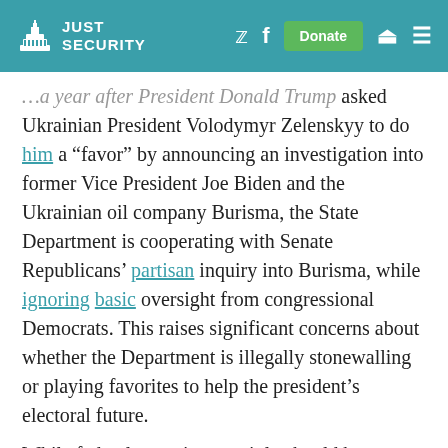Just Security
...a year after President Donald Trump asked Ukrainian President Volodymyr Zelenskyy to do him a "favor" by announcing an investigation into former Vice President Joe Biden and the Ukrainian oil company Burisma, the State Department is cooperating with Senate Republicans' partisan inquiry into Burisma, while ignoring basic oversight from congressional Democrats. This raises significant concerns about whether the Department is illegally stonewalling or playing favorites to help the president's electoral future.

While federal agencies certainly should be